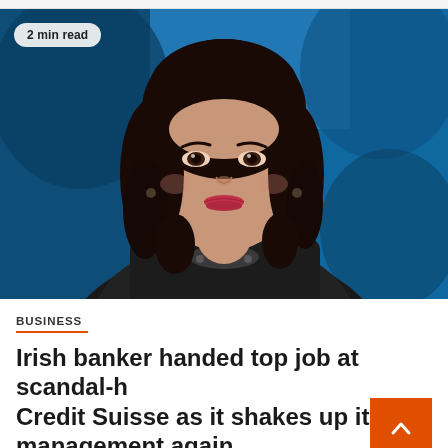[Figure (photo): Professional headshot of a woman with dark hair wearing a dark blazer and pearl necklace, against a blue background. A badge in the top-left reads '2 min read'.]
BUSINESS
Irish banker handed top job at scandal-hit Credit Suisse as it shakes up its management again